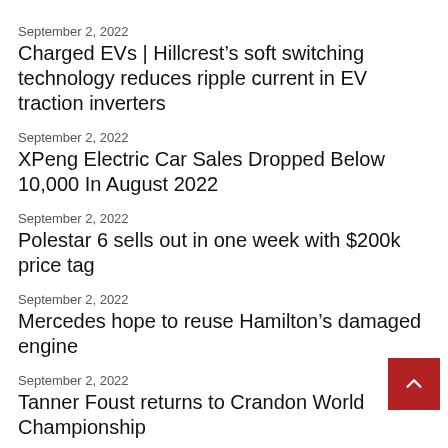September 2, 2022
Charged EVs | Hillcrest’s soft switching technology reduces ripple current in EV traction inverters
September 2, 2022
XPeng Electric Car Sales Dropped Below 10,000 In August 2022
September 2, 2022
Polestar 6 sells out in one week with $200k price tag
September 2, 2022
Mercedes hope to reuse Hamilton’s damaged engine
September 2, 2022
Tanner Foust returns to Crandon World Championship
September 2, 2022
F1 should forbidding drivers from dropping visor tears onto track
September 2, 2022